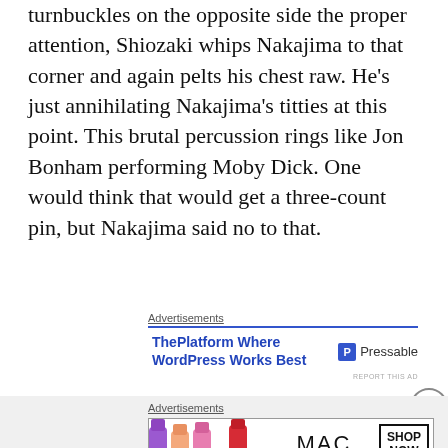turnbuckles on the opposite side the proper attention, Shiozaki whips Nakajima to that corner and again pelts his chest raw. He's just annihilating Nakajima's titties at this point. This brutal percussion rings like Jon Bonham performing Moby Dick. One would think that would get a three-count pin, but Nakajima said no to that.
Advertisements
[Figure (other): Advertisement for Pressable: ThePlatform Where WordPress Works Best, with Pressable logo]
REPORT THIS AD
Advertisements
[Figure (other): MAC Cosmetics advertisement with lipsticks image and SHOP NOW button]
REPORT THIS AD